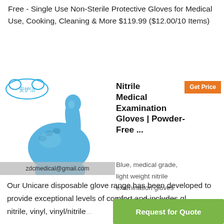Free - Single Use Non-Sterile Protective Gloves for Medical Use, Cooking, Cleaning & More $119.99 ($12.00/10 Items)
[Figure (photo): Blue nitrile glove showing a thumbs-up gesture with a Chinese brand logo in the top left and a watermark 'zdcmedical@gmail.com' at the bottom]
Nitrile Medical Examination Gloves | Powder-Free ...
Blue, medical grade, light weight nitrile examination gloves Unicare glove range
Our Unicare disposable glove range has been developed to provide exceptional levels of comfort and includes gl... nitrile, vinyl, vinyl/nitrile...
Request for Quote